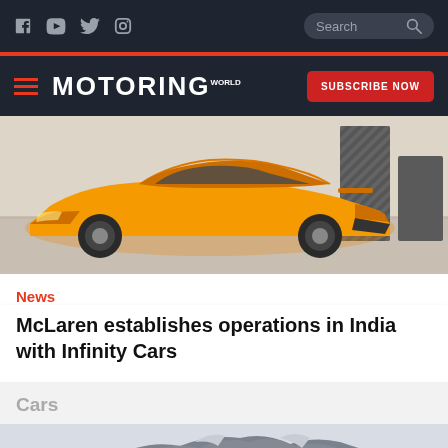Social icons: Facebook, YouTube, Twitter, Instagram; Search box
MOTORING WORLD
SUBSCRIBE NOW
[Figure (photo): Orange McLaren supercar photographed from behind-side angle in a showroom, with carbon fiber display pillars in the background]
News
McLaren establishes operations in India with Infinity Cars
Cars
[Figure (photo): Mountain range landscape with grey rocky peaks against a pale sky]